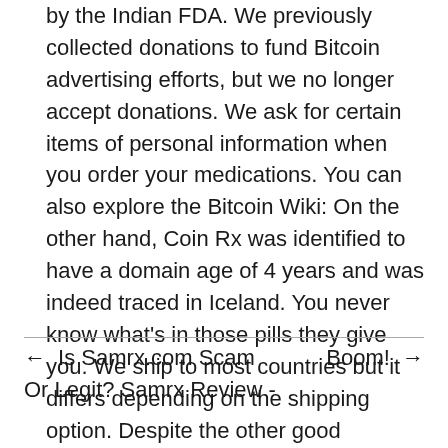by the Indian FDA. We previously collected donations to fund Bitcoin advertising efforts, but we no longer accept donations. We ask for certain items of personal information when you order your medications. You can also explore the Bitcoin Wiki: On the other hand, Coin Rx was identified to have a domain age of 4 years and was indeed traced in Iceland. You never know what's in those pills they give you. We ship to most countries but it differs depending on the shipping option. Despite the other good comments for Coinrx. You must update your affiliate profile with Litecoin and Dogecoin wallet addresses to receive referral credit on orders paid for in those crypto-currencies. With Bitcoin, there is no credit card coinr that some malicious actor can collect in order to impersonate you. Welcome to Reddit, the front page of the internet.
← Is Samrx.com Scam Or Legit? Samrx Review -    Boom! →